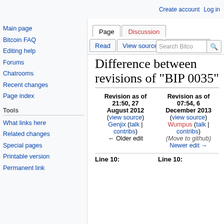Create account  Log in
Difference between revisions of "BIP 0035"
Revision as of 21:50, 27 August 2012 (view source)
Genjix (talk | contribs)
← Older edit
Revision as of 07:54, 6 December 2013 (view source)
Wumpus (talk | contribs)
(Move to github)
Newer edit →
Line 10:	Line 10: